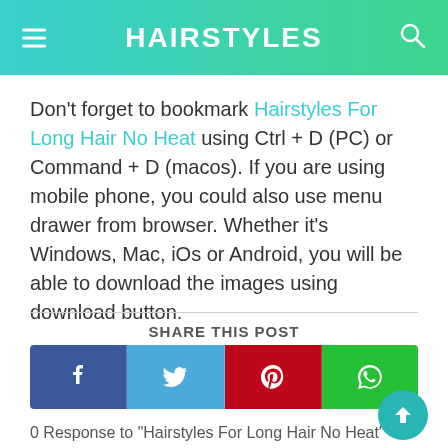HAIRSTYLES
Don't forget to bookmark Hairstyles For Long Hair No Heat using Ctrl + D (PC) or Command + D (macos). If you are using mobile phone, you could also use menu drawer from browser. Whether it's Windows, Mac, iOs or Android, you will be able to download the images using download button.
SHARE THIS POST
[Figure (other): Social share buttons for Facebook, Twitter, Pinterest, and WhatsApp]
0 Response to 'Hairstyles For Long Hair No Heat'